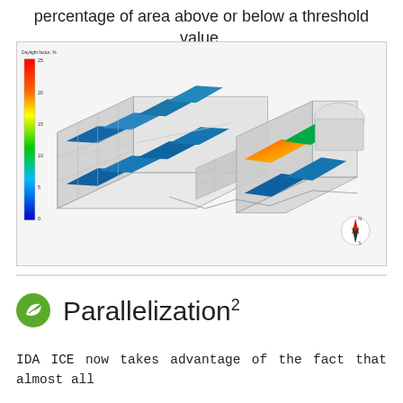percentage of area above or below a threshold value.
[Figure (other): 3D isometric view of a building with daylight factor color map visualization (false-color heatmap). Color scale on left shows Daylight factor % from low (blue) to high (red). The building floor plan shows multiple rooms with varying daylight levels — mostly blue/green with one orange/red hot spot near the right side. A north arrow compass is shown in the lower right corner.]
Parallelization²
IDA ICE now takes advantage of the fact that almost all